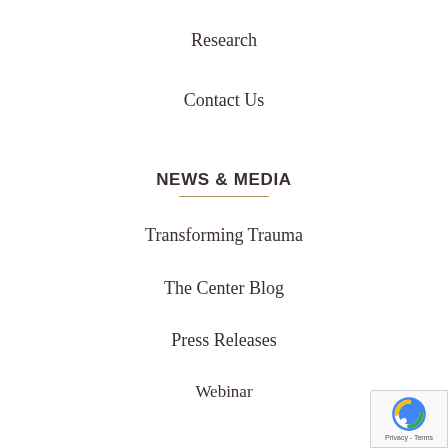Research
Contact Us
NEWS & MEDIA
Transforming Trauma
The Center Blog
Press Releases
Webinar
ABOUT
[Figure (logo): reCAPTCHA badge with Privacy - Terms text]